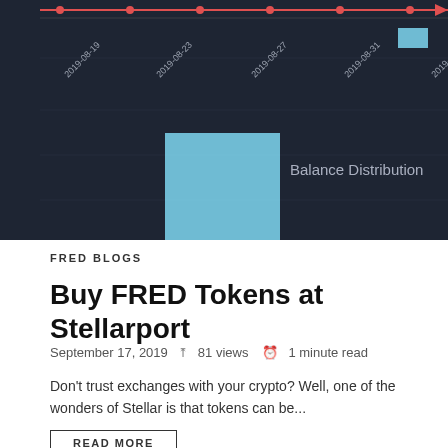[Figure (other): Dark-themed chart showing a line chart with red data points at the top and a large light-blue bar in the lower portion. Text reads 'Balance Distribution'. X-axis shows dates: 2019-08-19, 2019-08-23, 2019-08-27, 2019-08-31, 2019-09-04.]
FRED BLOGS
Buy FRED Tokens at Stellarport
September 17, 2019   81 views   1 minute read
Don't trust exchanges with your crypto? Well, one of the wonders of Stellar is that tokens can be...
READ MORE